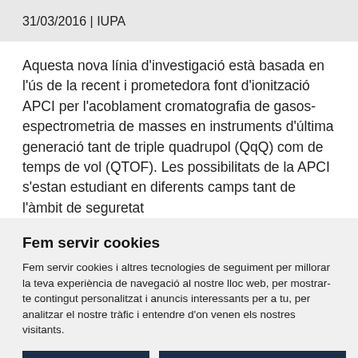31/03/2016 | IUPA
Aquesta nova línia d'investigació està basada en l'ús de la recent i prometedora font d'ionització APCI per l'acoblament cromatografia de gasos-espectrometria de masses en instruments d'última generació tant de triple quadrupol (QqQ) com de temps de vol (QTOF). Les possibilitats de la APCI s'estan estudiant en diferents camps tant de l'àmbit de seguretat
Fem servir cookies
Fem servir cookies i altres tecnologies de seguiment per millorar la teva experiència de navegació al nostre lloc web, per mostrar-te contingut personalitzat i anuncis interessants per a tu, per analitzar el nostre tràfic i entendre d'on venen els nostres visitants.
Estic d'acord | Canviar preferències